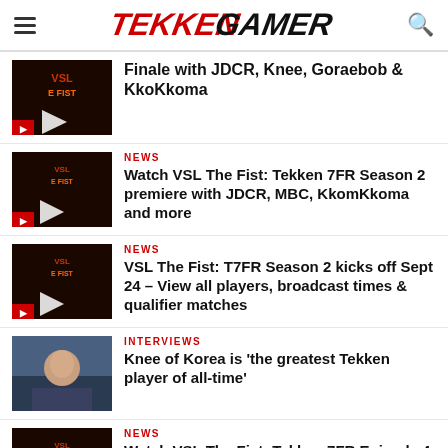TEKKENGAMER
Finale with JDCR, Knee, Goraebob & KkoKkoma
NEWS
Watch VSL The Fist: Tekken 7FR Season 2 premiere with JDCR, MBC, KkomKkoma and more
NEWS
VSL The Fist: T7FR Season 2 kicks off Sept 24 – View all players, broadcast times & qualifier matches
INTERVIEWS
Knee of Korea is 'the greatest Tekken player of all-time'
NEWS
Watch VSL The Fist: Tekken 7FR Episode 4 – Semi Finals & Finals with Knee vs